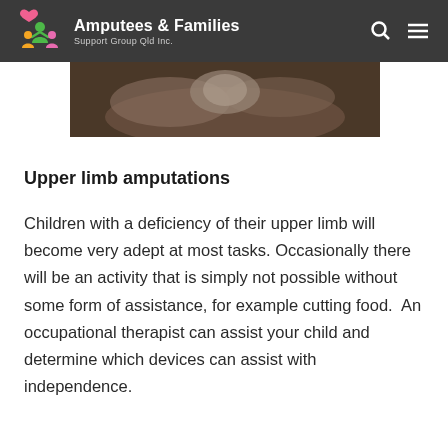Amputees & Families Support Group Qld Inc.
[Figure (photo): Photo of a person holding a baby, showing close-up of arms and hands against a dark background]
Upper limb amputations
Children with a deficiency of their upper limb will become very adept at most tasks. Occasionally there will be an activity that is simply not possible without some form of assistance, for example cutting food.  An occupational therapist can assist your child and determine which devices can assist with independence.